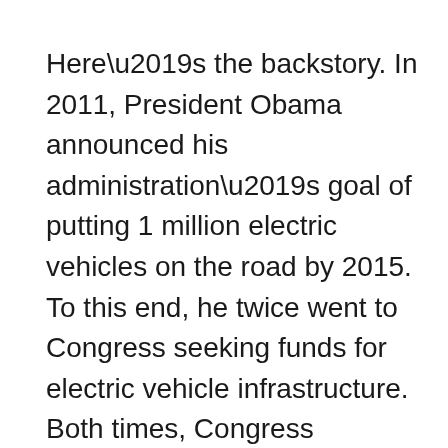Here's the backstory. In 2011, President Obama announced his administration's goal of putting 1 million electric vehicles on the road by 2015. To this end, he twice went to Congress seeking funds for electric vehicle infrastructure. Both times, Congress demurred. Having been rebuffed by Congress, the Obama administration turned to other means to achieve his preferred policy. Last October, the Justice Department and the EPA reached a partial settlement with Volkswagen over Clean Air Act violations attendant to the company's installation of “defeat devices” on almost 500,000 cars sold in the U.S., and the agreement includes a stipulation that VW work with EPA to invest $1.2 billion on electric vehicle infrastructure, directing the EPA to help decide how the